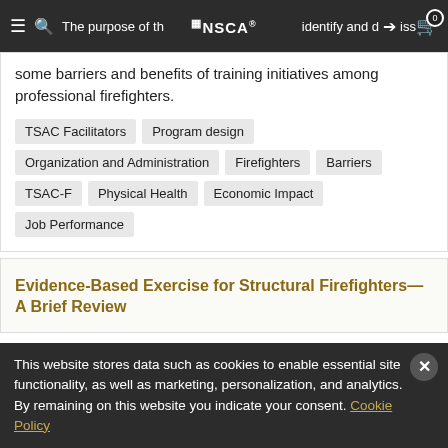NSCA — navigation bar with search, logo, sign-in, cart (0)
The purpose of this article is to identify and discuss some barriers and benefits of training initiatives among professional firefighters.
TSAC Facilitators
Program design
Organization and Administration
Firefighters
Barriers
TSAC-F
Physical Health
Economic Impact
Job Performance
Evidence-Based Exercise for Structural Firefighters—A Brief Review
This website stores data such as cookies to enable essential site functionality, as well as marketing, personalization, and analytics. By remaining on this website you indicate your consent. Cookie Policy